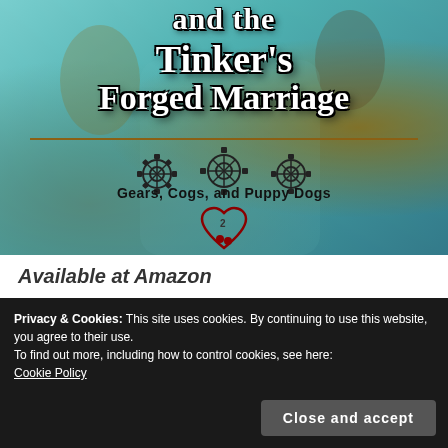[Figure (illustration): Book cover for 'and the Tinker's Forged Marriage', part of the 'Gears, Cogs, and Puppy Dogs' series (book 2). Features steampunk aesthetic with teal/turquoise dress, gear decorations, and ornate lettering on a teal-brown background.]
Available at Amazon
Privacy & Cookies: This site uses cookies. By continuing to use this website, you agree to their use.
To find out more, including how to control cookies, see here:
Cookie Policy
Close and accept